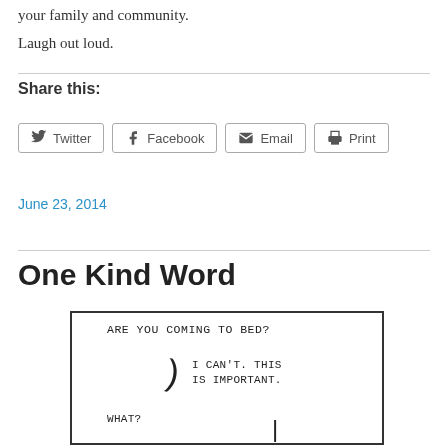your family and community.
Laugh out loud.
Share this:
Twitter  Facebook  Email  Print
June 23, 2014
One Kind Word
[Figure (illustration): Comic panel showing handwritten text: 'ARE YOU COMING TO BED?' with reply 'I CAN'T. THIS IS IMPORTANT.' and 'WHAT?' with a person figure drawn as a parenthesis mark]